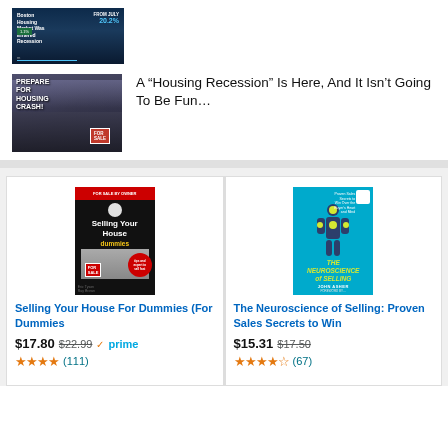[Figure (screenshot): Thumbnail image showing housing market data with text overlay showing 20.2% and other statistics on dark background]
[Figure (photo): Article thumbnail with 'PREPARE FOR HOUSING CRASH!' text overlay on a dark image of buildings with for-sale sign]
A "Housing Recession" Is Here, And It Isn't Going To Be Fun...
[Figure (photo): Book cover: Selling Your House For Dummies (For Dummies series), yellow cover with black section, house and for sale sign image]
Selling Your House For Dummies (For Dummies
$17.80 $22.99 ✓prime (111)
[Figure (photo): Book cover: The Neuroscience of Selling by John Asher, cyan/blue cover with human figure illustration]
The Neuroscience of Selling: Proven Sales Secrets to Win
$15.31 $17.50 (67)